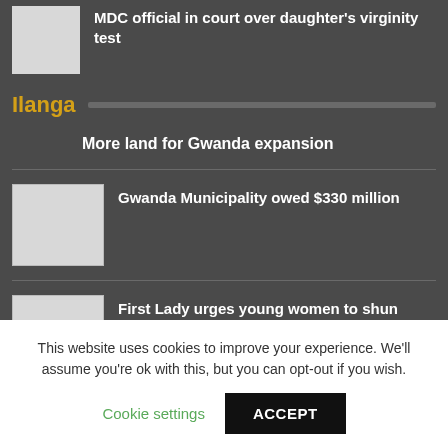MDC official in court over daughter's virginity test
Ilanga
More land for Gwanda expansion
Gwanda Municipality owed $330 million
First Lady urges young women to shun handouts
This website uses cookies to improve your experience. We'll assume you're ok with this, but you can opt-out if you wish.
Cookie settings
ACCEPT